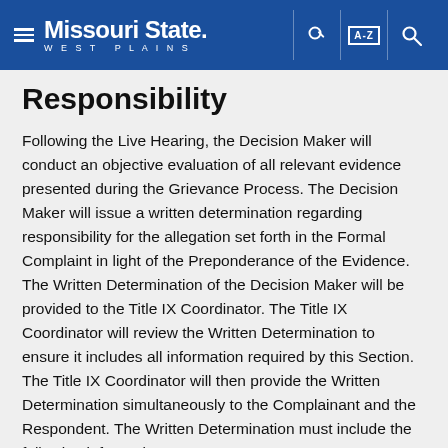Missouri State WEST PLAINS
Responsibility
Following the Live Hearing, the Decision Maker will conduct an objective evaluation of all relevant evidence presented during the Grievance Process. The Decision Maker will issue a written determination regarding responsibility for the allegation set forth in the Formal Complaint in light of the Preponderance of the Evidence. The Written Determination of the Decision Maker will be provided to the Title IX Coordinator. The Title IX Coordinator will review the Written Determination to ensure it includes all information required by this Section. The Title IX Coordinator will then provide the Written Determination simultaneously to the Complainant and the Respondent. The Written Determination must include the following information: